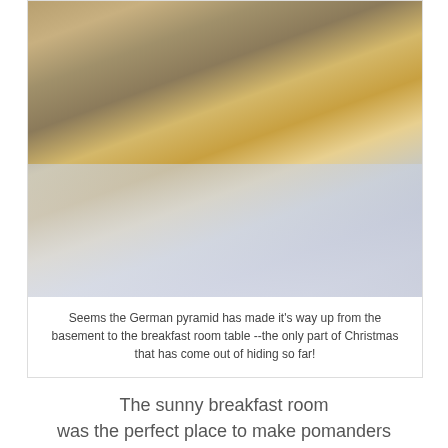[Figure (photo): A German Christmas pyramid decoration on a breakfast room table covered with a white lace tablecloth, with red candles, and a wooden bowl of oranges/lemons. Sunlight casts shadows across the tablecloth.]
Seems the German pyramid has made it's way up from the basement to the breakfast room table --the only part of Christmas that has come out of hiding so far!
The sunny breakfast room was the perfect place to make pomanders